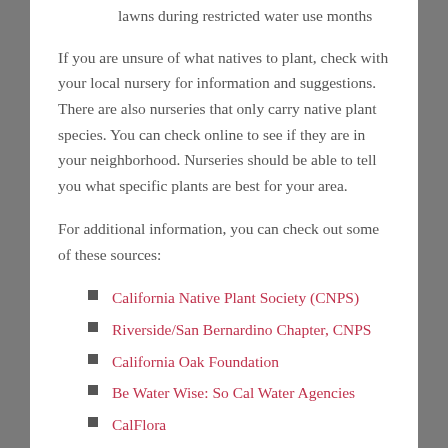lawns during restricted water use months
If you are unsure of what natives to plant, check with your local nursery for information and suggestions. There are also nurseries that only carry native plant species. You can check online to see if they are in your neighborhood. Nurseries should be able to tell you what specific plants are best for your area.
For additional information, you can check out some of these sources:
California Native Plant Society (CNPS)
Riverside/San Bernardino Chapter, CNPS
California Oak Foundation
Be Water Wise: So Cal Water Agencies
CalFlora
USDA Plants